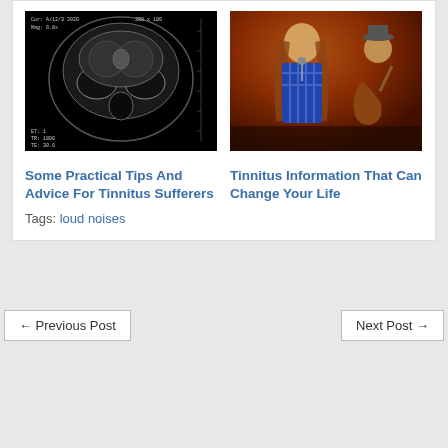[Figure (photo): MRI scan of human skull/head, coronal view, black background with grayscale brain/skull anatomy visible. Small text overlay in top-left and bottom-left corners showing scan parameters.]
[Figure (photo): Concert photo showing two musicians performing on stage. Warm orange/red lighting. A singer with long hair in the foreground and a guitarist in a hat in the background.]
Some Practical Tips And Advice For Tinnitus Sufferers
Tinnitus Information That Can Change Your Life
Tags: loud noises
← Previous Post
Next Post →